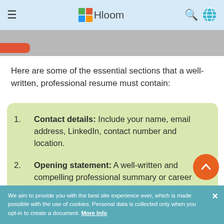Hloom
[Figure (screenshot): Partial image strip showing a cropped banner with a red element at left]
Here are some of the essential sections that a well-written, professional resume must contain:
Contact details: Include your name, email address, LinkedIn, contact number and location.
Opening statement: A well-written and compelling professional summary or career objective statement.
We aim to provide you with the best site experience ever, which is made possible with the use of cookies. Personal data is collected only when you opt-in to create a document. More Info